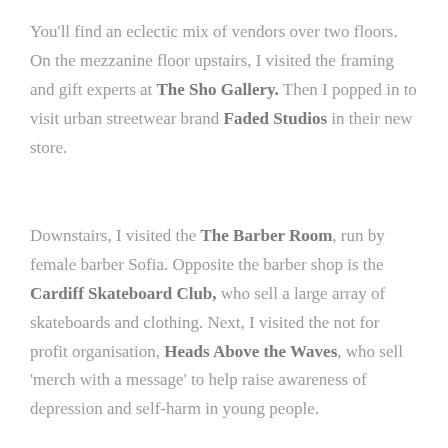You'll find an eclectic mix of vendors over two floors. On the mezzanine floor upstairs, I visited the framing and gift experts at The Sho Gallery. Then I popped in to visit urban streetwear brand Faded Studios in their new store.
Downstairs, I visited the The Barber Room, run by female barber Sofia. Opposite the barber shop is the Cardiff Skateboard Club, who sell a large array of skateboards and clothing. Next, I visited the not for profit organisation, Heads Above the Waves, who sell 'merch with a message' to help raise awareness of depression and self-harm in young people.